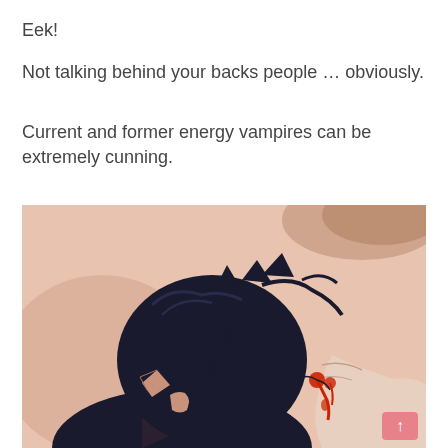Eek!
Not talking behind your backs people … obviously.
Current and former energy vampires can be extremely cunning.
[Figure (illustration): Anime-style illustration showing a dark-haired character with pointed ears biting the neck of another character. The background is a pinkish-beige cracked wall texture. The image has a watercolor/painted style with red blood visible at the bite area.]